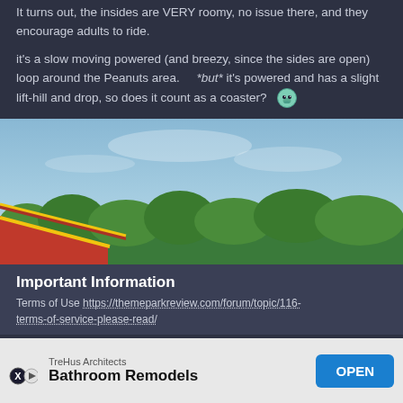It turns out, the insides are VERY roomy, no issue there, and they encourage adults to ride.
it's a slow moving powered (and breezy, since the sides are open) loop around the Peanuts area.    *but* it's powered and has a slight lift-hill and drop, so does it count as a coaster? 👽
[Figure (photo): Outdoor photo showing a blue sky with green trees and a red and yellow ride structure roof visible at the bottom left.]
Important Information
Terms of Use https://themeparkreview.com/forum/topic/116-terms-of-service-please-read/
[Figure (infographic): Advertisement banner for TreHus Architects - Bathroom Remodels with an OPEN button.]